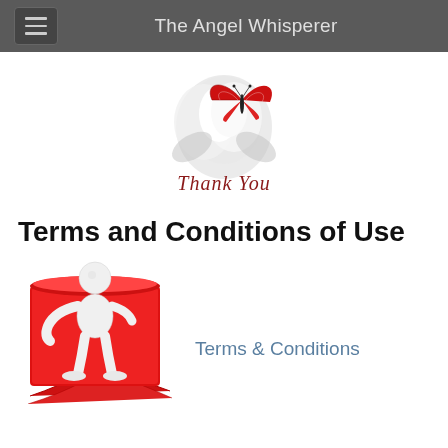The Angel Whisperer
[Figure (illustration): White rose with red butterfly logo and 'Thank You' cursive text below]
Terms and Conditions of Use
[Figure (illustration): 3D white figure character holding and unrolling a red scroll with 'Terms & Conditions' text]